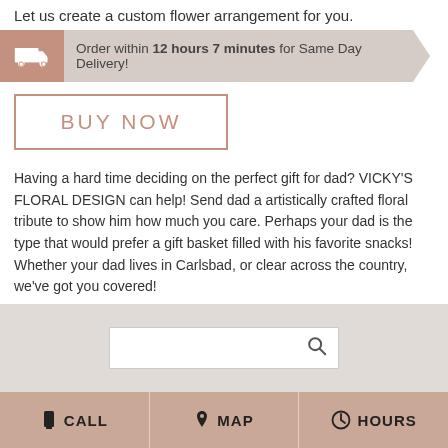Let us create a custom flower arrangement for you.
Order within 12 hours 7 minutes for Same Day Delivery!
BUY NOW
Having a hard time deciding on the perfect gift for dad? VICKY'S FLORAL DESIGN can help! Send dad a artistically crafted floral tribute to show him how much you care. Perhaps your dad is the type that would prefer a gift basket filled with his favorite snacks! Whether your dad lives in Carlsbad, or clear across the country, we've got you covered!
CALL
MAP
HOURS